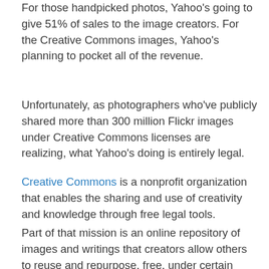For those handpicked photos, Yahoo's going to give 51% of sales to the image creators. For the Creative Commons images, Yahoo's planning to pocket all of the revenue.
Unfortunately, as photographers who've publicly shared more than 300 million Flickr images under Creative Commons licenses are realizing, what Yahoo's doing is entirely legal.
Creative Commons is a nonprofit organization that enables the sharing and use of creativity and knowledge through free legal tools.
Part of that mission is an online repository of images and writings that creators allow others to reuse and repurpose, free, under certain conditions, including